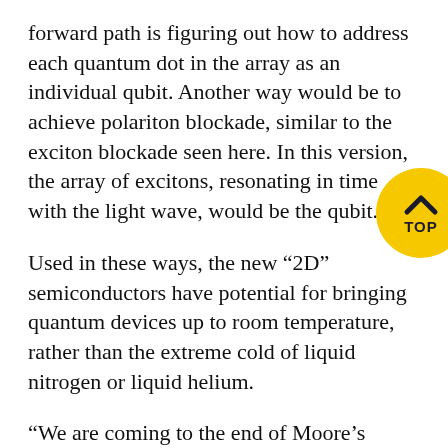forward path is figuring out how to address each quantum dot in the array as an individual qubit. Another way would be to achieve polariton blockade, similar to the exciton blockade seen here. In this version, the array of excitons, resonating in time with the light wave, would be the qubit.
Used in these ways, the new “2D” semiconductors have potential for bringing quantum devices up to room temperature, rather than the extreme cold of liquid nitrogen or liquid helium.
“We are coming to the end of Moore’s Law,” said Steve Forrest, the Peter A. Franken Distinguished University Professor of Electrical Engineering and co-author of the paper, referring to the trend of the density of transistors on a chip doubling every two
[Figure (other): Yellow circular TOP button with chevron arrow pointing up and label TOP]